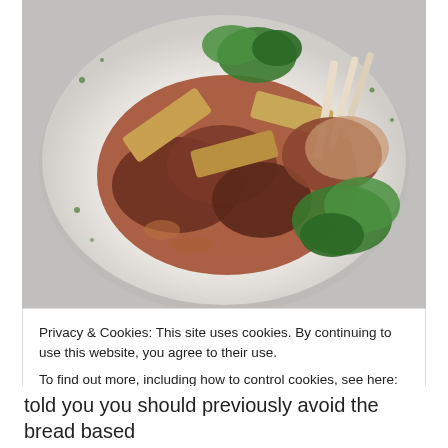[Figure (photo): A plated dish on a white plate featuring braised or roasted meat (possibly lamb chops with bones exposed), bread slices, tomato-based sauce, fresh herbs and microgreens garnish, served on a white background with scattered herb crumbs.]
Privacy & Cookies: This site uses cookies. By continuing to use this website, you agree to their use.
To find out more, including how to control cookies, see here: Cookie Policy
Close and accept
told you you should previously avoid the bread based